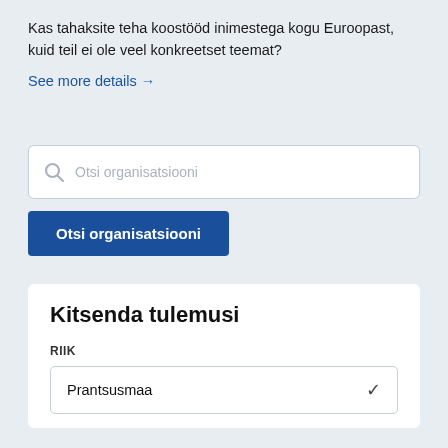Kas tahaksite teha koostööd inimestega kogu Euroopast, kuid teil ei ole veel konkreetset teemat?
See more details →
[Figure (screenshot): Search input field with placeholder text 'Otsi organisatsiooni' and a search icon]
Otsi organisatsiooni
Kitsenda tulemusi
RIIK
Prantsusmaa